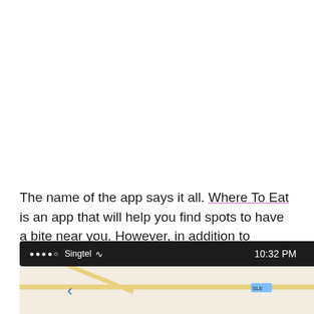The name of the app says it all. Where To Eat is an app that will help you find spots to have a bite near you. However, in addition to several similar apps out there, Where To Eat tends to also display those little eatery gems that usually only the locals know about.
[Figure (screenshot): iOS status bar showing ●●●●○ Singtel WiFi signal, 10:32 PM time, location arrow, 39% battery]
[Figure (screenshot): Map view screenshot showing roads and a blue label, with a back arrow on the left]